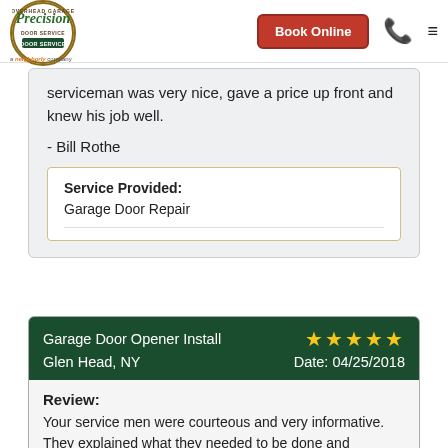[Figure (logo): Precision Door Service logo - circular badge with text 'OVERHEAD GARAGE DOOR SERVICE' around border, 'Precision' in green italic script, and 'a neighborly company' below]
Book Online (button)
serviceman was very nice, gave a price up front and knew his job well.
- Bill Rothe
| Service Provided: |  |
| Garage Door Repair |  |
Garage Door Opener Install  ★★★★★  Glen Head, NY  Date: 04/25/2018
Review:
Your service men were courteous and very informative. They explained what needed to be done and